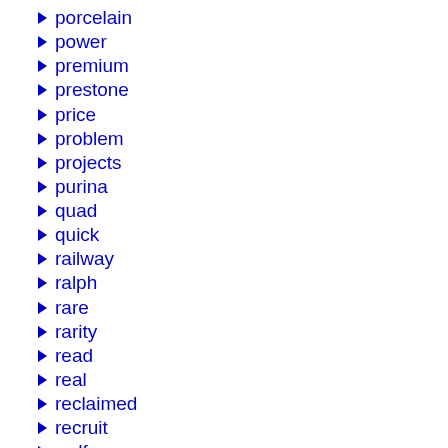porcelain
power
premium
prestone
price
problem
projects
purina
quad
quick
railway
ralph
rare
rarity
read
real
reclaimed
recruit
redfern
reduced
reebok
refreshments